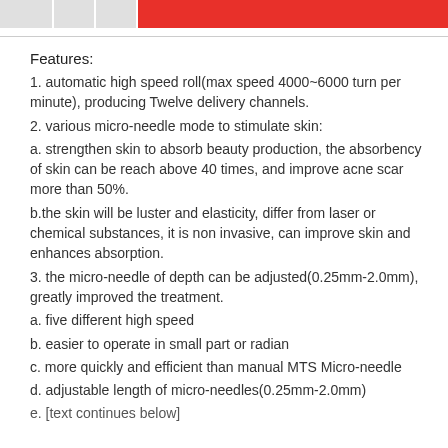[tab bar with red header]
Features:
1. automatic high speed roll(max speed 4000~6000 turn per minute), producing Twelve delivery channels.
2. various micro-needle mode to stimulate skin:
a. strengthen skin to absorb beauty production, the absorbency of skin can be reach above 40 times, and improve acne scar more than 50%.
b.the skin will be luster and elasticity, differ from laser or chemical substances, it is non invasive, can improve skin and enhances absorption.
3. the micro-needle of depth can be adjusted(0.25mm-2.0mm), greatly improved the treatment.
a. five different high speed
b. easier to operate in small part or radian
c. more quickly and efficient than manual MTS Micro-needle
d. adjustable length of micro-needles(0.25mm-2.0mm)
e. [text cut off]